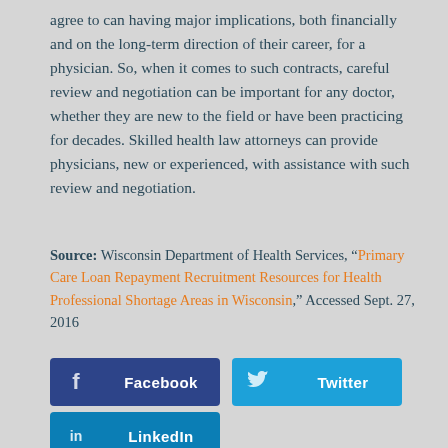agree to can having major implications, both financially and on the long-term direction of their career, for a physician. So, when it comes to such contracts, careful review and negotiation can be important for any doctor, whether they are new to the field or have been practicing for decades. Skilled health law attorneys can provide physicians, new or experienced, with assistance with such review and negotiation.
Source: Wisconsin Department of Health Services, “Primary Care Loan Repayment Recruitment Resources for Health Professional Shortage Areas in Wisconsin,” Accessed Sept. 27, 2016
[Figure (other): Social media sharing buttons: Facebook (dark blue), Twitter (light blue), LinkedIn (medium blue)]